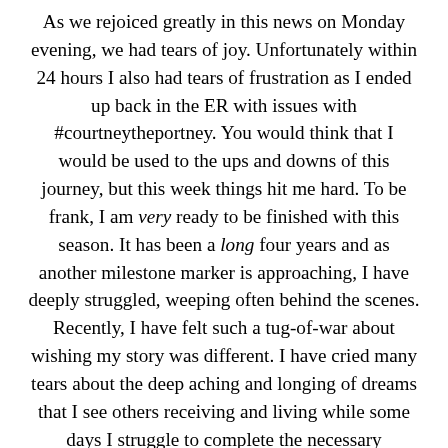As we rejoiced greatly in this news on Monday evening, we had tears of joy. Unfortunately within 24 hours I also had tears of frustration as I ended up back in the ER with issues with #courtneytheportney. You would think that I would be used to the ups and downs of this journey, but this week things hit me hard. To be frank, I am very ready to be finished with this season. It has been a long four years and as another milestone marker is approaching, I have deeply struggled, weeping often behind the scenes. Recently, I have felt such a tug-of-war about wishing my story was different. I have cried many tears about the deep aching and longing of dreams that I see others receiving and living while some days I struggle to complete the necessary treatment protocol before me. It is a true relinquishing of many many many hopes and dreams on this long journey to the One who loves me more than life.